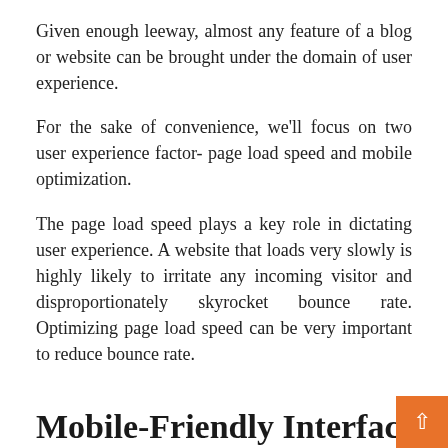Given enough leeway, almost any feature of a blog or website can be brought under the domain of user experience.
For the sake of convenience, we'll focus on two user experience factor- page load speed and mobile optimization.
The page load speed plays a key role in dictating user experience. A website that loads very slowly is highly likely to irritate any incoming visitor and disproportionately skyrocket bounce rate. Optimizing page load speed can be very important to reduce bounce rate.
Mobile-Friendly Interface